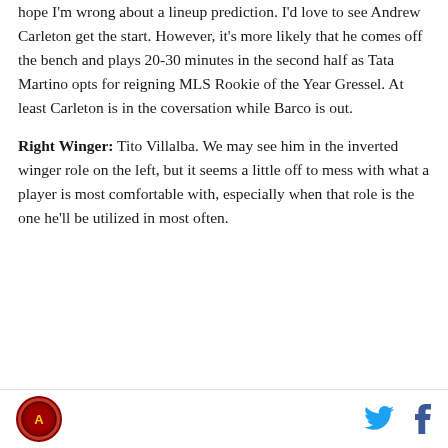hope I'm wrong about a lineup prediction. I'd love to see Andrew Carleton get the start. However, it's more likely that he comes off the bench and plays 20-30 minutes in the second half as Tata Martino opts for reigning MLS Rookie of the Year Gressel. At least Carleton is in the coversation while Barco is out.
Right Winger: Tito Villalba. We may see him in the inverted winger role on the left, but it seems a little off to mess with what a player is most comfortable with, especially when that role is the one he'll be utilized in most often.
[Figure (other): Advertisement placeholder (AD label visible)]
Site logo | Twitter icon | Facebook icon